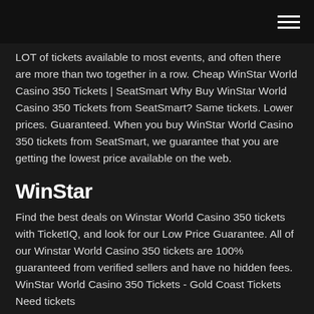LOT of tickets available to most events, and often there are more than two together in a row. Cheap WinStar World Casino 350 Tickets | SeatSmart Why Buy WinStar World Casino 350 Tickets from SeatSmart? Same tickets. Lower prices. Guaranteed. When you buy WinStar World Casino 350 tickets from SeatSmart, we guarantee that you are getting the lowest price available on the web.
WinStar
Find the best deals on Winstar World Casino 350 tickets with TicketIQ, and look for our Low Price Guarantee. All of our Winstar World Casino 350 tickets are 100% guaranteed from verified sellers and have no hidden fees. WinStar World Casino 350 Tickets - Gold Coast Tickets Need tickets